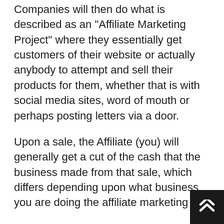Companies will then do what is described as an “Affiliate Marketing Project” where they essentially get customers of their website or actually anybody to attempt and sell their products for them, whether that is with social media sites, word of mouth or perhaps posting letters via a door.
Upon a sale, the Affiliate (you) will generally get a cut of the cash that the business made from that sale, which differs depending upon what business you are doing the affiliate marketing for.
So you're pretty much the middle male. A company says “Hey, if you can bring us consumers and they buy our item, after that we will certainly pay you for that sale!”
Individuals love this due to the fact that you're not having to manage customer care or any other of the difficult business job. You're merely referring on...